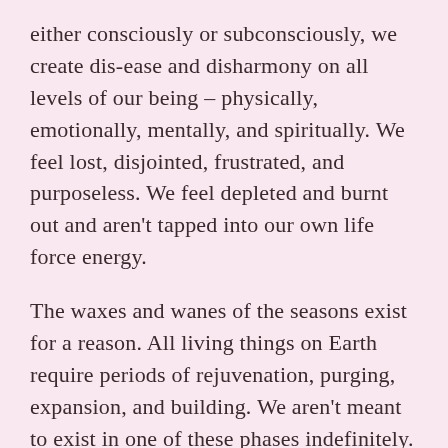either consciously or subconsciously, we create dis-ease and disharmony on all levels of our being – physically, emotionally, mentally, and spiritually. We feel lost, disjointed, frustrated, and purposeless. We feel depleted and burnt out and aren't tapped into our own life force energy.
The waxes and wanes of the seasons exist for a reason. All living things on Earth require periods of rejuvenation, purging, expansion, and building. We aren't meant to exist in one of these phases indefinitely. Naturally, we each may have one we "like" more than the other, however, all are necessary.
The energies of each season and "sub-season" have very specific instructions